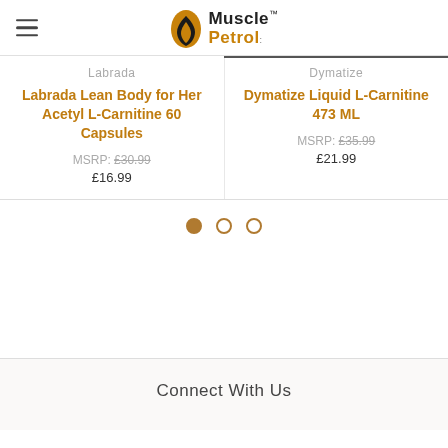Muscle Petrol (logo with hamburger menu)
Labrada
Labrada Lean Body for Her Acetyl L-Carnitine 60 Capsules
MSRP: £30.99
£16.99
Dymatize
Dymatize Liquid L-Carnitine 473 ML
MSRP: £35.99
£21.99
[Figure (infographic): Carousel pagination dots: one filled amber dot and two empty circle dots]
Connect With Us